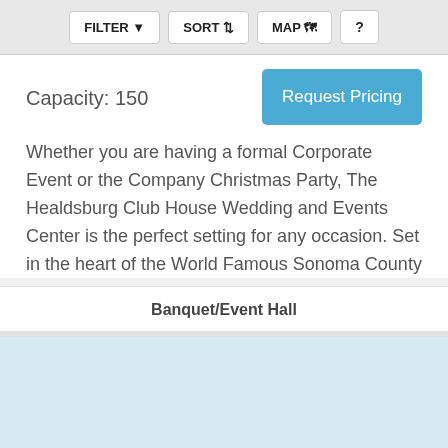FILTER   SORT   MAP   ?
Capacity: 150
Request Pricing
Whether you are having a formal Corporate Event or the Company Christmas Party, The Healdsburg Club House Wedding and Events Center is the perfect setting for any occasion. Set in the heart of the World Famous Sonoma County
Banquet/Event Hall
[Figure (map): Light blue map area at the bottom of the page]